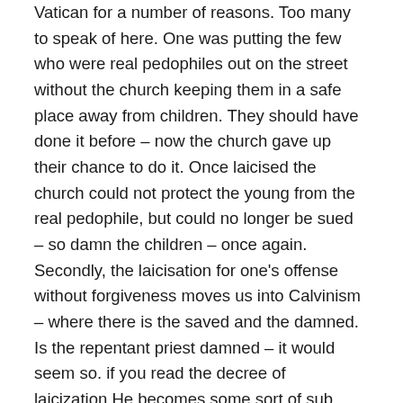Vatican for a number of reasons. Too many to speak of here. One was putting the few who were real pedophiles out on the street without the church keeping them in a safe place away from children. They should have done it before – now the church gave up their chance to do it. Once laicised the church could not protect the young from the real pedophile, but could no longer be sued – so damn the children – once again. Secondly, the laicisation for one's offense without forgiveness moves us into Calvinism – where there is the saved and the damned. Is the repentant priest damned – it would seem so. if you read the decree of laicization.He becomes some sort of sub species of Catholic who can never rise to take a normal part in the Church. In the Decree Of Laicisation the Bishop is